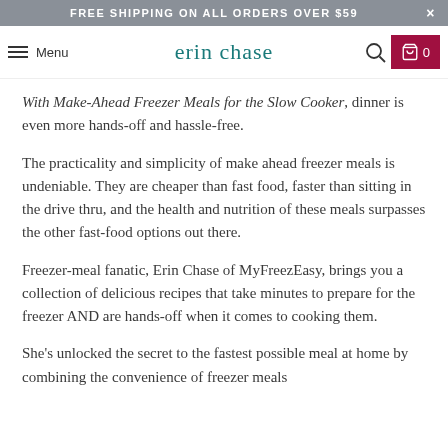FREE SHIPPING ON ALL ORDERS OVER $59
Menu | erin chase | 0
With Make-Ahead Freezer Meals for the Slow Cooker, dinner is even more hands-off and hassle-free.
The practicality and simplicity of make ahead freezer meals is undeniable. They are cheaper than fast food, faster than sitting in the drive thru, and the health and nutrition of these meals surpasses the other fast-food options out there.
Freezer-meal fanatic, Erin Chase of MyFreezEasy, brings you a collection of delicious recipes that take minutes to prepare for the freezer AND are hands-off when it comes to cooking them.
She's unlocked the secret to the fastest possible meal at home by combining the convenience of freezer meals...